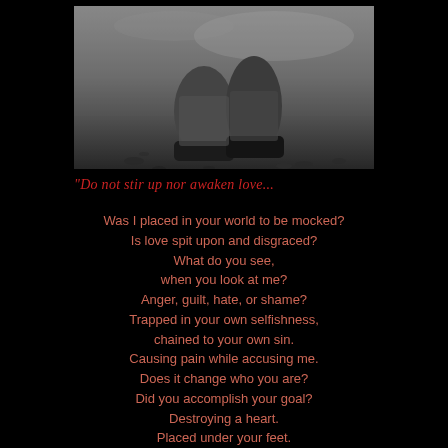[Figure (photo): Black and white photograph of worn boots/shoes on the ground with scattered debris or petals around them, dark moody tone]
"Do not stir up nor awaken love...
Was I placed in your world to be mocked?
Is love spit upon and disgraced?
What do you see,
when you look at me?
Anger, guilt, hate, or shame?
Trapped in your own selfishness,
chained to your own sin.
Causing pain while accusing me.
Does it change who you are?
Did you accomplish your goal?
Destroying a heart.
Placed under your feet.